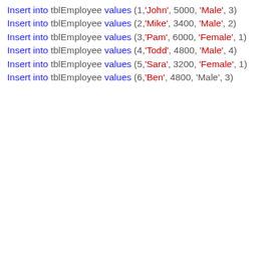Insert into tblEmployee values (1,'John', 5000, 'Male', 3)
Insert into tblEmployee values (2,'Mike', 3400, 'Male', 2)
Insert into tblEmployee values (3,'Pam', 6000, 'Female', 1)
Insert into tblEmployee values (4,'Todd', 4800, 'Male', 4)
Insert into tblEmployee values (5,'Sara', 3200, 'Female', 1)
Insert into tblEmployee values (6,'Ben', 4800, 'Male', 3)